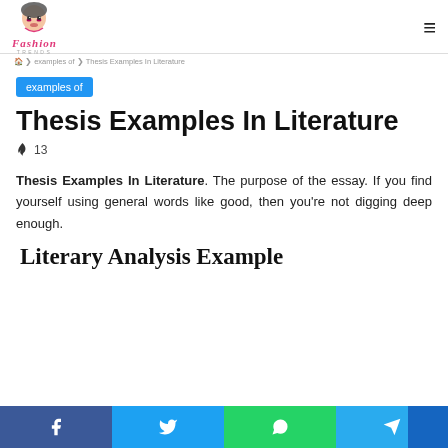Fashion Trends — examples of — [hamburger menu]
examples of
Thesis Examples In Literature
🔥 13
Thesis Examples In Literature. The purpose of the essay. If you find yourself using general words like good, then you're not digging deep enough.
Literary Analysis Example